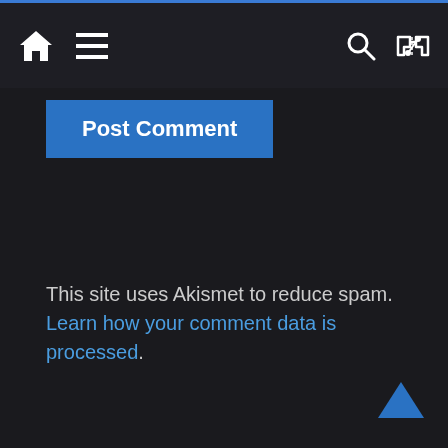Home | Menu | Search | Shuffle
Post Comment
This site uses Akismet to reduce spam. Learn how your comment data is processed.